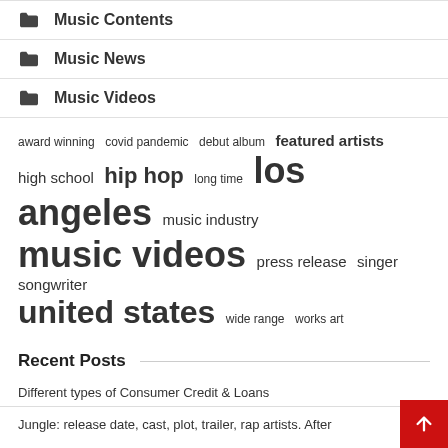Music Contents
Music News
Music Videos
award winning  covid pandemic  debut album  featured artists  high school  hip hop  long time  los angeles  music industry  music videos  press release  singer songwriter  united states  wide range  works art
Recent Posts
Different types of Consumer Credit & Loans
Jungle: release date, cast, plot, trailer, rap artists. After